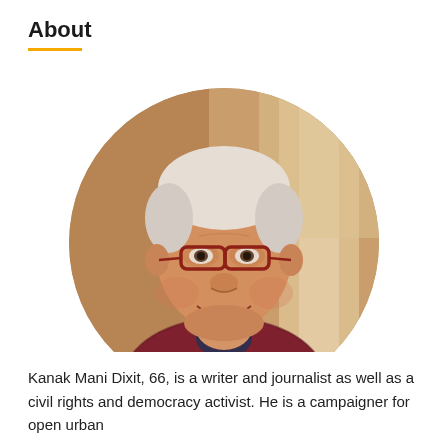About
[Figure (photo): Circular portrait photo of an elderly man with white hair and red-framed glasses, smiling, wearing a dark red patterned sweater, with a blurred brick and column background.]
Kanak Mani Dixit, 66, is a writer and journalist as well as a civil rights and democracy activist. He is a campaigner for open urban